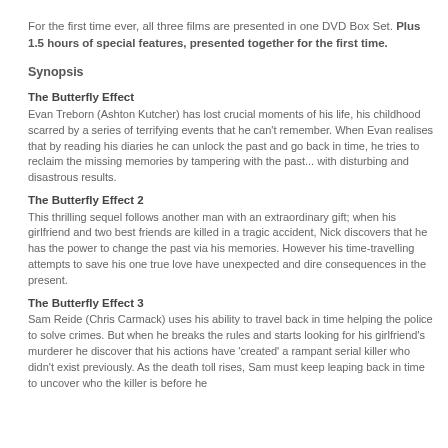For the first time ever, all three films are presented in one DVD Box Set. Plus 1.5 hours of special features, presented together for the first time.
Synopsis
The Butterfly Effect
Evan Treborn (Ashton Kutcher) has lost crucial moments of his life, his childhood scarred by a series of terrifying events that he can't remember. When Evan realises that by reading his diaries he can unlock the past and go back in time, he tries to reclaim the missing memories by tampering with the past... with disturbing and disastrous results.
The Butterfly Effect 2
This thrilling sequel follows another man with an extraordinary gift; when his girlfriend and two best friends are killed in a tragic accident, Nick discovers that he has the power to change the past via his memories. However his time-travelling attempts to save his one true love have unexpected and dire consequences in the present.
The Butterfly Effect 3
Sam Reide (Chris Carmack) uses his ability to travel back in time helping the police to solve crimes. But when he breaks the rules and starts looking for his girlfriend's murderer he discover that his actions have 'created' a rampant serial killer who didn't exist previously. As the death toll rises, Sam must keep leaping back in time to uncover who the killer is before he